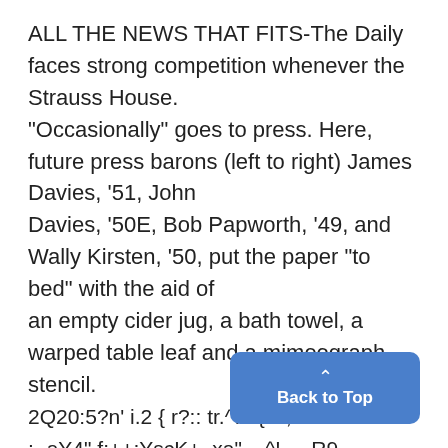ALL THE NEWS THAT FITS-The Daily faces strong competition whenever the Strauss House. "Occasionally" goes to press. Here, future press barons (left to right) James Davies, '51, John Davies, '50E, Bob Papworth, '49, and Wally Kirsten, '50, put the paper "to bed" with the aid of an empty cider jug, a bath towel, a warped table leaf and a mimeograph stencil. 2Q20:5?n' i.2 { r?:: tr.^.a.{sz,"-.!0 : -aY4".f:++;YscK+ .xa"....^!~ ~R9